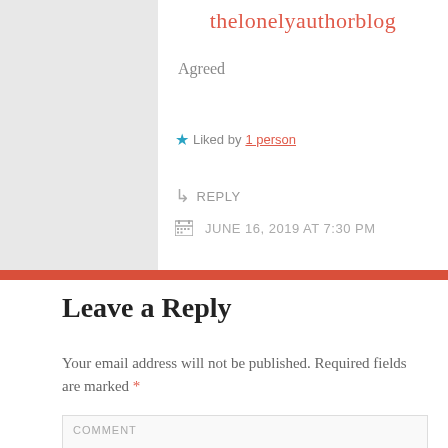thelonelyauthorblog
Agreed
Liked by 1 person
REPLY
JUNE 16, 2019 AT 7:30 PM
Leave a Reply
Your email address will not be published. Required fields are marked *
COMMENT